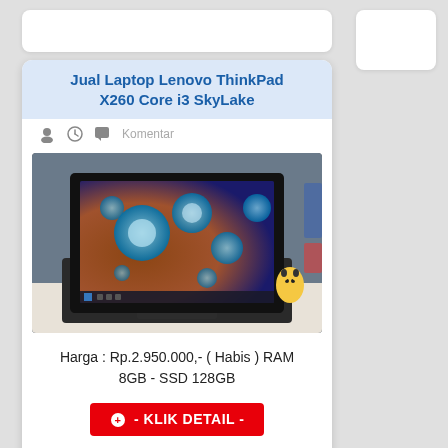Jual Laptop Lenovo ThinkPad X260 Core i3 SkyLake
Komentar
[Figure (photo): Photo of a Lenovo ThinkPad X260 laptop with a water droplets wallpaper on screen, keyboard visible, black color]
Harga : Rp.2.950.000,- ( Habis ) RAM 8GB - SSD 128GB
- KLIK DETAIL -